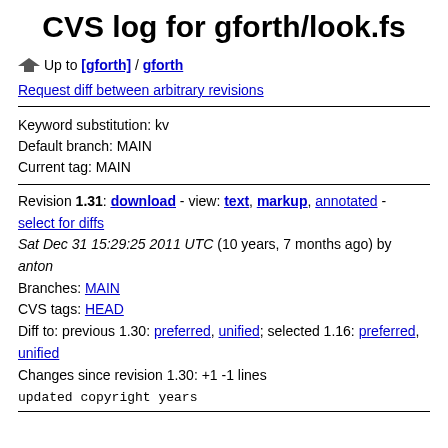CVS log for gforth/look.fs
Up to [gforth] / gforth
Request diff between arbitrary revisions
Keyword substitution: kv
Default branch: MAIN
Current tag: MAIN
Revision 1.31: download - view: text, markup, annotated - select for diffs
Sat Dec 31 15:29:25 2011 UTC (10 years, 7 months ago) by anton
Branches: MAIN
CVS tags: HEAD
Diff to: previous 1.30: preferred, unified; selected 1.16: preferred, unified
Changes since revision 1.30: +1 -1 lines
updated copyright years